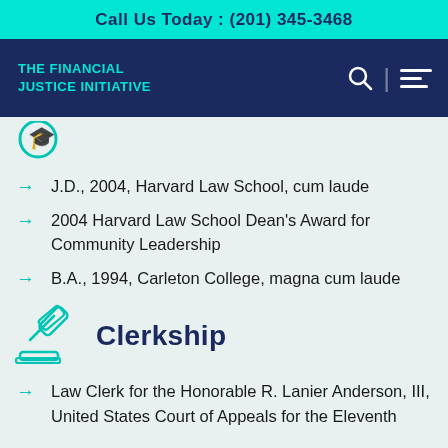Call Us Today : (201) 345-3468
[Figure (logo): The Financial Justice Initiative logo in teal text on dark navy navigation bar with search icon and hamburger menu]
[Figure (illustration): Partial teal graduation/award icon at top left of content area]
J.D., 2004, Harvard Law School, cum laude
2004 Harvard Law School Dean's Award for Community Leadership
B.A., 1994, Carleton College, magna cum laude
Clerkship
Law Clerk for the Honorable R. Lanier Anderson, III, United States Court of Appeals for the Eleventh